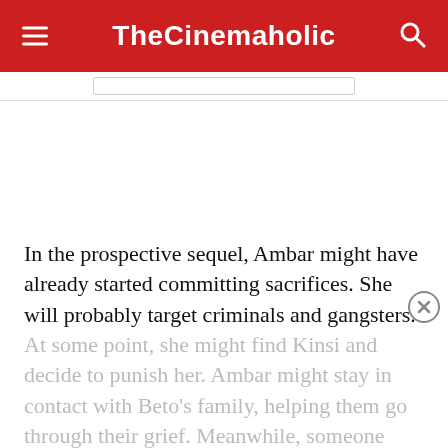TheCinemaholic
In the prospective sequel, Ambar might have already started committing sacrifices. She will probably target criminals and gangsters. At some point, she might find Kinsi and decide to punish her. Ambar might stay in contact with Beto's family, helping them go through their grief. Meanwhile, someone else